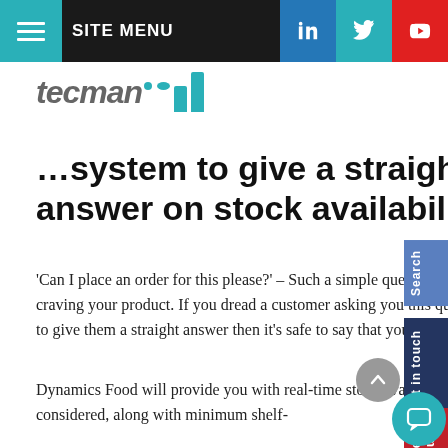SITE MENU
[Figure (logo): Tecman logo with teal bar chart icon and italic grey 'tecman' wordmark]
...system to give a straight answer on stock availability
'Can I place an order for this please?' – Such a simple question and one that should fill you with excitement and joy that a customer is craving your product. If you dread a customer asking you this question, because you're going to have to run around the office in a panic to give them a straight answer then it's safe to say that you've got a stock availability problem.
Dynamics Food will provide you with real-time stock availability and movements with best before/use-by dates and catchweight all considered, along with minimum shelf-life parameters. You really need to have an answer...